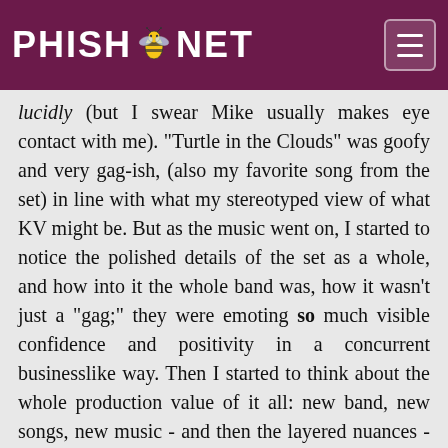PHISH.NET
lucidly (but I swear Mike usually makes eye contact with me). "Turtle in the Clouds" was goofy and very gag-ish, (also my favorite song from the set) in line with what my stereotyped view of what KV might be. But as the music went on, I started to notice the polished details of the set as a whole, and how into it the whole band was, how it wasn't just a "gag;" they were emoting so much visible confidence and positivity in a concurrent businesslike way. Then I started to think about the whole production value of it all: new band, new songs, new music - and then the layered nuances - new stage set-up, new instruments, new monitors/PA, new clothing, new positions on stage, new light rig, new lights over the crowd, new LED stage (!!!) … Phish created a brand new, completely unique, completely non-Phish, concert experience for a mere 60-minutes of entertainment. Mind-blowing the chain of events that had to have happened to arrive at this moment, from